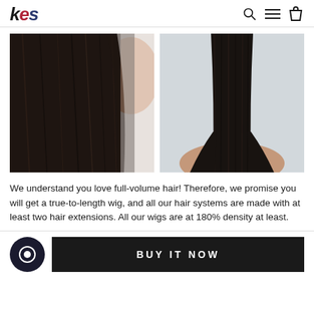kes
[Figure (photo): Close-up of dark straight hair ends held by a hand against a light background]
[Figure (photo): Back view of a person with long straight black hair against a light blue-grey background]
We understand you love full-volume hair! Therefore, we promise you will get a true-to-length wig, and all our hair systems are made with at least two hair extensions. All our wigs are at 180% density at least.
BUY IT NOW